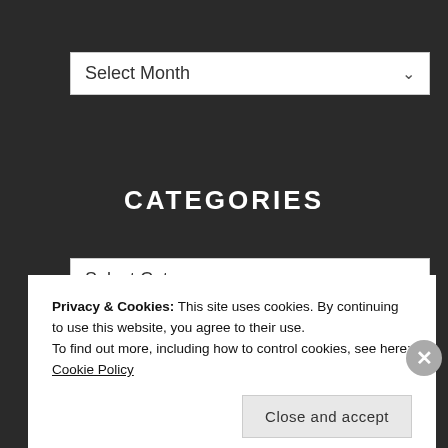[Figure (screenshot): Select Month dropdown widget with white background and downward arrow]
CATEGORIES
[Figure (screenshot): Select Category dropdown widget with white background and downward arrow]
BLOGS WE FOLLOW
Privacy & Cookies: This site uses cookies. By continuing to use this website, you agree to their use.
To find out more, including how to control cookies, see here: Cookie Policy
Close and accept